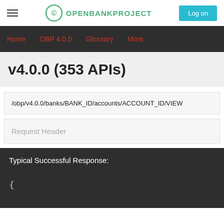OPENBANKPROJECT — Log on
Home   OBP 4.0.0   Glossary   More
v4.0.0 (353 APIs)
/obp/v4.0.0/banks/BANK_ID/accounts/ACCOUNT_ID/VIEW
Request Header
Typical Successful Response: